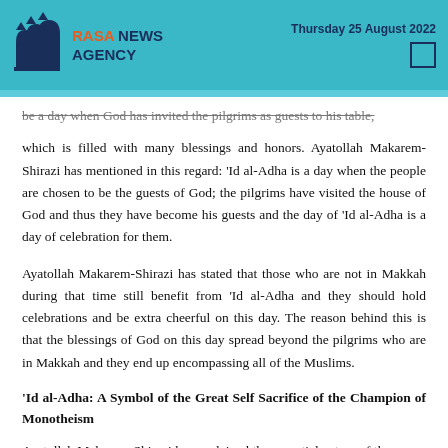RASA NEWS AGENCY — Thursday 25 August 2022
be a day when God has invited the pilgrims as guests to his table, which is filled with many blessings and honors. Ayatollah Makarem-Shirazi has mentioned in this regard: ‘Id al-Adha is a day when the people are chosen to be the guests of God; the pilgrims have visited the house of God and thus they have become his guests and the day of ‘Id al-Adha is a day of celebration for them.
Ayatollah Makarem-Shirazi has stated that those who are not in Makkah during that time still benefit from ‘Id al-Adha and they should hold celebrations and be extra cheerful on this day. The reason behind this is that the blessings of God on this day spread beyond the pilgrims who are in Makkah and they end up encompassing all of the Muslims.
‘Id al-Adha: A Symbol of the Great Self Sacrifice of the Champion of Monotheism
Ayatollah Makarem-Shirazi has explained the essential nature of the